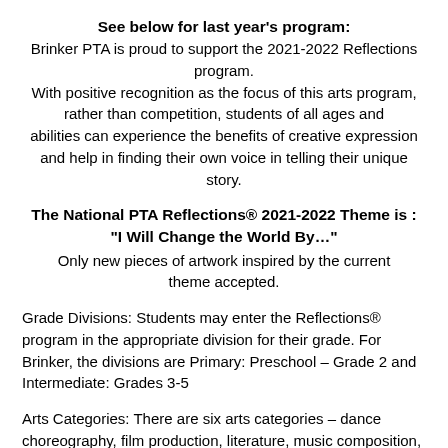See below for last year's program:
Brinker PTA is proud to support the 2021-2022 Reflections program.
With positive recognition as the focus of this arts program, rather than competition, students of all ages and abilities can experience the benefits of creative expression and help in finding their own voice in telling their unique story.
The National PTA Reflections® 2021-2022 Theme is : "I Will Change the World By…"
Only new pieces of artwork inspired by the current theme accepted.
Grade Divisions: Students may enter the Reflections® program in the appropriate division for their grade. For Brinker, the divisions are Primary: Preschool – Grade 2 and Intermediate: Grades 3-5
Arts Categories: There are six arts categories – dance choreography, film production, literature, music composition, photography and visual arts. Students may